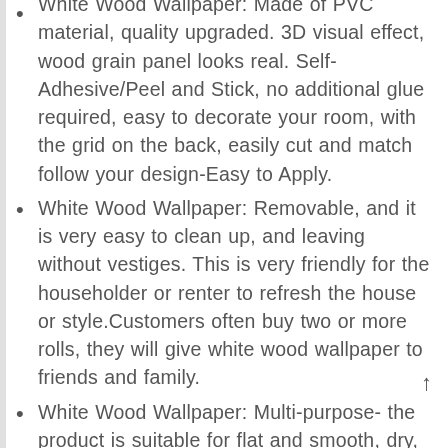White Wood Wallpaper: Made of PVC material, quality upgraded. 3D visual effect, wood grain panel looks real. Self-Adhesive/Peel and Stick, no additional glue required, easy to decorate your room, with the grid on the back, easily cut and match follow your design-Easy to Apply.
White Wood Wallpaper: Removable, and it is very easy to clean up, and leaving without vestiges. This is very friendly for the householder or renter to refresh the house or style.Customers often buy two or more rolls, they will give white wood wallpaper to friends and family.
White Wood Wallpaper: Multi-purpose- the product is suitable for flat and smooth, dry, clean surfaces. For example: kitchen cupboard/countertop, bedside desk,